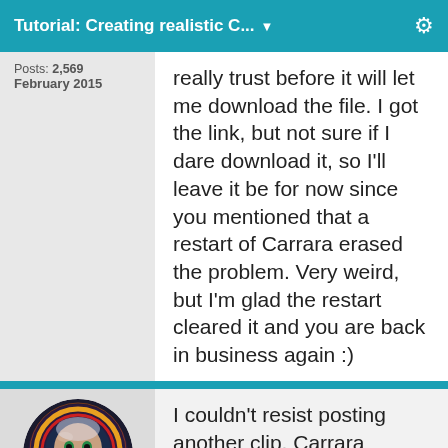Tutorial: Creating realistic C... ▼
Posts: 2,569
February 2015
really trust before it will let me download the file. I got the link, but not sure if I dare download it, so I'll leave it be for now since you mentioned that a restart of Carrara erased the problem. Very weird, but I'm glad the restart cleared it and you are back in business again :)
[Figure (photo): User avatar showing a person in a space suit helmet, circular cropped portrait]
I couldn't resist posting another clip. Carrara dynamic hair is awesome The way it flows, obeying the laws of gravity... is divine.